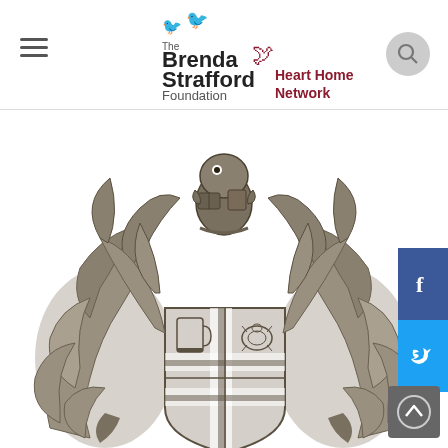[Figure (logo): The Brenda Strafford Foundation Heart Home Network logo with birds and foundation name]
[Figure (illustration): Grayscale coat of arms / heraldic crest with ornate leaf scrollwork supporters, a beaver or similar animal crest at top holding a book, and a quartered shield below with various symbols including a tankard and a turtle]